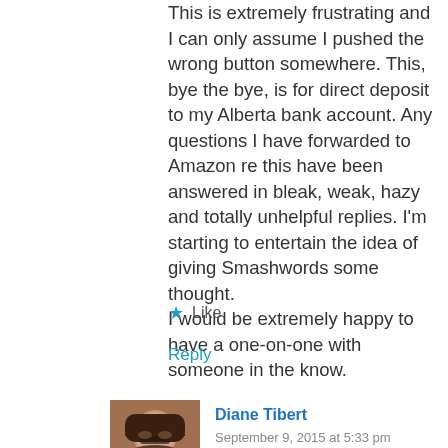This is extremely frustrating and I can only assume I pushed the wrong button somewhere. This, bye the bye, is for direct deposit to my Alberta bank account. Any questions I have forwarded to Amazon re this have been answered in bleak, weak, hazy and totally unhelpful replies. I'm starting to entertain the idea of giving Smashwords some thought.
I would be extremely happy to have a one-on-one with someone in the know.
★ Like
Reply
[Figure (photo): Profile photo of a woman with short hair wearing sunglasses, brown tones]
Diane Tibert
September 9, 2015 at 5:33 pm